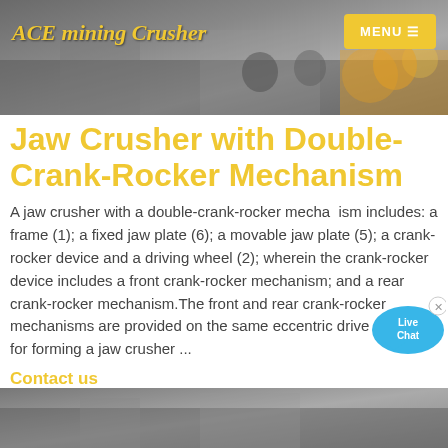ACE mining Crusher
Jaw Crusher with Double-Crank-Rocker Mechanism
A jaw crusher with a double-crank-rocker mechanism includes: a frame (1); a fixed jaw plate (6); a movable jaw plate (5); a crank-rocker device and a driving wheel (2); wherein the crank-rocker device includes a front crank-rocker mechanism; and a rear crank-rocker mechanism. The front and rear crank-rocker mechanisms are provided on the same eccentric drive shaft (3) for forming a jaw crusher ...
Contact us
[Figure (screenshot): Live Chat bubble icon in upper right area of content]
[Figure (photo): Header banner photo showing mining crusher equipment and workers; footer banner showing similar industrial scene]